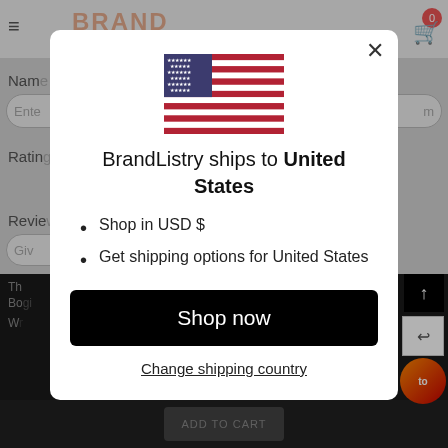[Figure (screenshot): Background webpage showing BrandListry website with navigation bar, form fields for Name and Rating, Review section, and dark footer — all partially obscured by modal overlay]
[Figure (illustration): US flag emoji/icon displayed at top of modal dialog]
BrandListry ships to United States
Shop in USD $
Get shipping options for United States
Shop now
Change shipping country